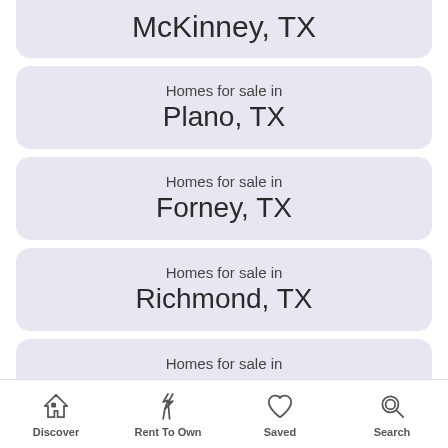McKinney, TX
Homes for sale in
Plano, TX
Homes for sale in
Forney, TX
Homes for sale in
Richmond, TX
Homes for sale in
Galveston, TX
Discover  Rent To Own  Saved  Search